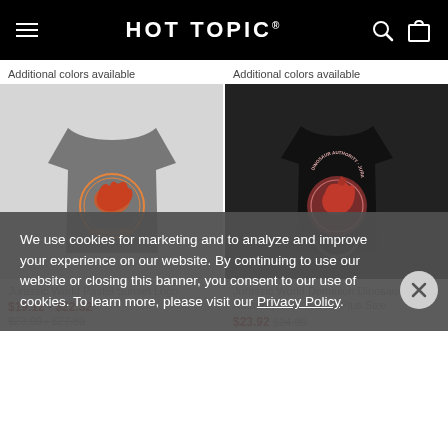HOT TOPIC
Additional colors available
Additional colors available
[Figure (photo): Gray t-shirt with Jurassic World Pastel Sunset Logo graphic]
[Figure (photo): Black t-shirt with Jurassic World Dominion Dinosaur Authority Girls T-Shirt Plus Size graphic]
Jurassic World Pastel Sunset Logo
$19.12 - $22.32
$23.90 - $27.80
Jurassic World Dominion Dinosaur Authority Girls T-Shirt Plus Size
$23.92 $24.99
We use cookies for marketing and to analyze and improve your experience on our website. By continuing to use our website or closing this banner, you consent to our use of cookies. To learn more, please visit our Privacy Policy.